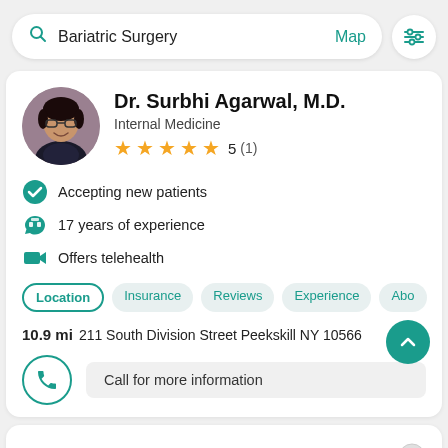[Figure (screenshot): Search bar with 'Bariatric Surgery' text, Map link, and filter icon]
Dr. Surbhi Agarwal, M.D.
Internal Medicine
5 (1)
Accepting new patients
17 years of experience
Offers telehealth
Location  Insurance  Reviews  Experience  Abo
10.9 mi 211 South Division Street Peekskill NY 10566
Call for more information